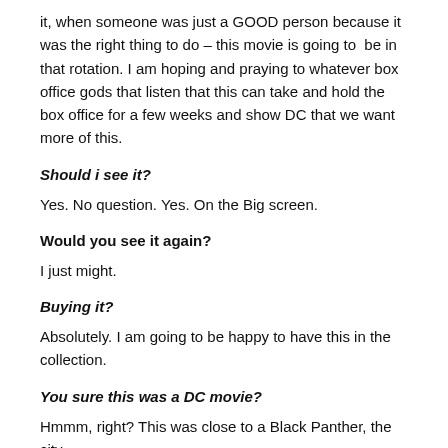it, when someone was just a GOOD person because it was the right thing to do – this movie is going to be in that rotation. I am hoping and praying to whatever box office gods that listen that this can take and hold the box office for a few weeks and show DC that we want more of this.
Should i see it?
Yes. No question. Yes. On the Big screen.
Would you see it again?
I just might.
Buying it?
Absolutely. I am going to be happy to have this in the collection.
You sure this was a DC movie?
Hmmm, right? This was close to a Black Panther, the city...